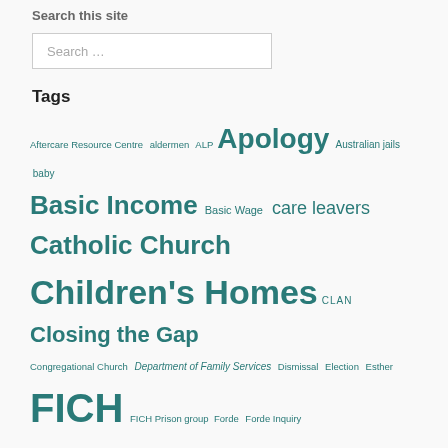Search this site
[Figure (other): Search input box with placeholder text 'Search …']
Tags
Aftercare Resource Centre  aldermen  ALP  Apology  Australian jails  baby  Basic Income  Basic Wage  care leavers  Catholic Church  Children's Homes  CLAN  Closing the Gap  Congregational Church  Department of Family Services  Dismissal  Election  Esther  FICH  FICH Prison group  Forde  Forde Inquiry  Forgotten Australians  Forgotten Australians Senate Inquiry  Freda Briggs  Gold Card  Gold Cards for Forgotten Australians  Gough Whitlam  Greens  Griffith University  Gympie  health professionals  Heiner Affair  Hollingworth  institutional child abuse  inter-generational trauma  Indra  Julia Gillard  Labor Party  Lewin